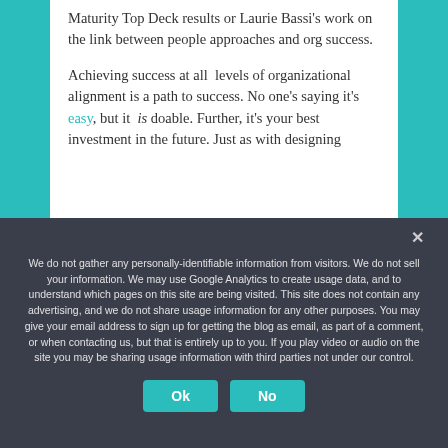Maturity Top Deck results or Laurie Bassi's work on the link between people approaches and org success.
Achieving success at all levels of organizational alignment is a path to success. No one's saying it's easy, but it is doable. Further, it's your best investment in the future. Just as with designing
We do not gather any personally-identifiable information from visitors. We do not sell your information. We may use Google Analytics to create usage data, and to understand which pages on this site are being visited. This site does not contain any advertising, and we do not share usage information for any other purposes. You may give your email address to sign up for getting the blog as email, as part of a comment, or when contacting us, but that is entirely up to you. If you play video or audio on the site you may be sharing usage information with third parties not under our control.